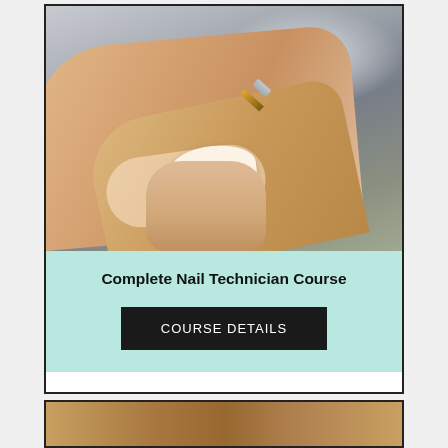[Figure (photo): Close-up photo of a hand holding a nail tip against a finger, with an acrylic nail brush poised above it, on a blurred grey-green background.]
Complete Nail Technician Course
COURSE DETAILS
[Figure (photo): Partial view of another course card image at the bottom of the page, showing a warm-toned close-up photo.]